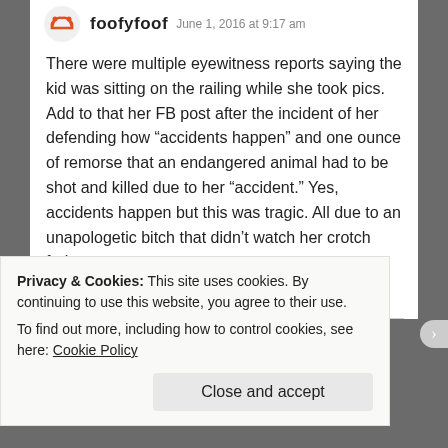foofyfoof  June 1, 2016 at 9:17 am
There were multiple eyewitness reports saying the kid was sitting on the railing while she took pics. Add to that her FB post after the incident of her defending how “accidents happen” and one ounce of remorse that an endangered animal had to be shot and killed due to her “accident.” Yes, accidents happen but this was tragic. All due to an unapologetic bitch that didn’t watch her crotch fruit.
Reply
Privacy & Cookies: This site uses cookies. By continuing to use this website, you agree to their use.
To find out more, including how to control cookies, see here: Cookie Policy
Close and accept